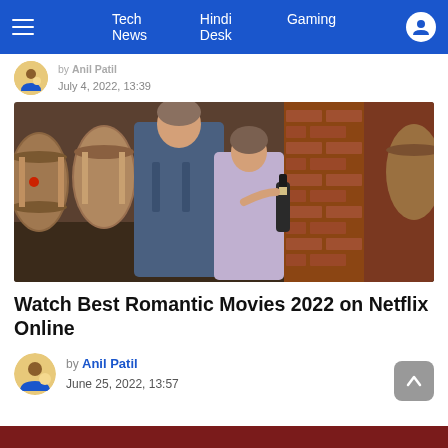Tech News  Hindi Desk  Gaming
by Anil Patil
July 4, 2022, 13:39
[Figure (photo): A man and woman in a winery/cellar surrounded by wine barrels and a brick column, woman holding a wine bottle]
Watch Best Romantic Movies 2022 on Netflix Online
by Anil Patil
June 25, 2022, 13:57